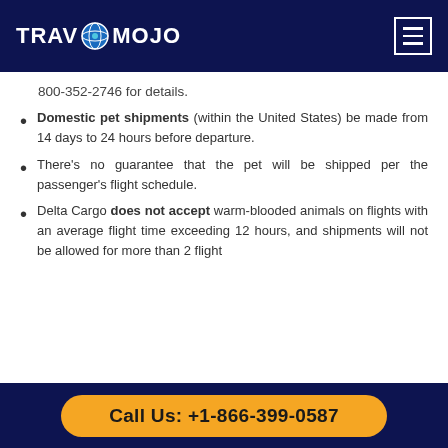TRAVOMOJO
800-352-2746 for details.
Domestic pet shipments (within the United States) be made from 14 days to 24 hours before departure.
There's no guarantee that the pet will be shipped per the passenger's flight schedule.
Delta Cargo does not accept warm-blooded animals on flights with an average flight time exceeding 12 hours, and shipments will not be allowed for more than 2 flight
Call Us: +1-866-399-0587